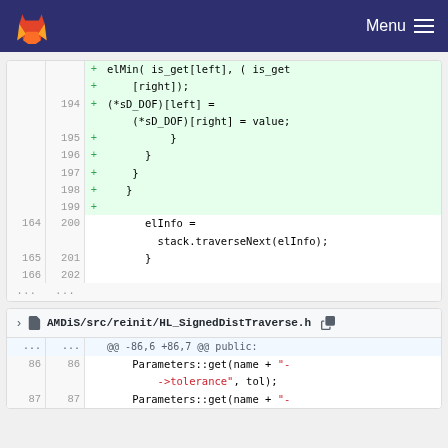GitLab — Menu
[Figure (screenshot): Code diff showing added lines 194-199 with (*sD_DOF)[left] = (*sD_DOF)[right] = value; and closing braces, followed by normal lines 164/200 elInfo = stack.traverseNext(elInfo); and 165/201, 166/202 closing brace]
[Figure (screenshot): File header for AMDiS/src/reinit/HL_SignedDistTraverse.h with hunk @@ -86,6 +86,7 @@ public: showing lines 86/86 Parameters::get(name + "->tolerance", tol); and line 87/87 Parameters::get(name + "-]